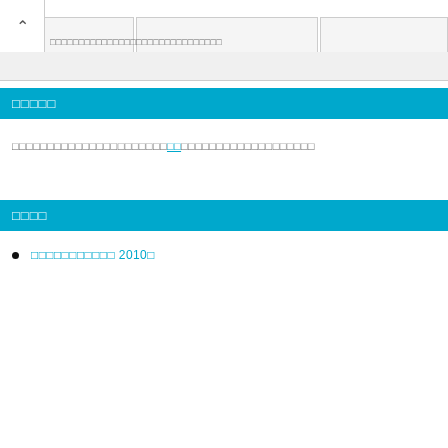▲ [navigation tabs and breadcrumb text]
□□□□□
□□□□□□□□□□□□□□□□□□□□□□□□□□□□□□□□□□□□□□□□□
□□□□
□□□□□□□□□□□ 2010□